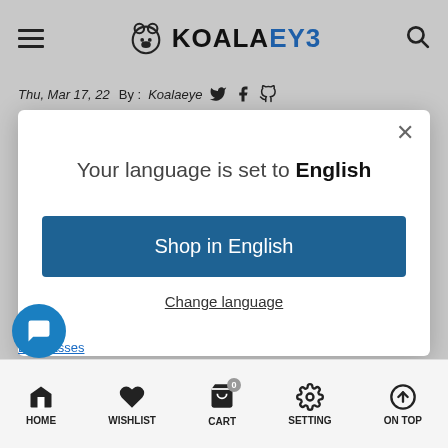KOALAEYE
Thu, Mar 17, 22  By : Koalaeye
[Figure (screenshot): Modal dialog with message 'Your language is set to English', a 'Shop in English' button, and a 'Change language' link]
Eyeglasses
HOME  WISHLIST  CART  SETTING  ON TOP